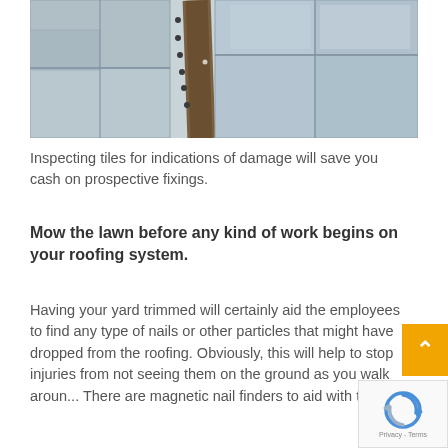[Figure (photo): Close-up photograph of rooftop tiles showing a seam/joint between tiles with dark spots/marks, and a metal channel or flashing strip running diagonally.]
Inspecting tiles for indications of damage will save you cash on prospective fixings.
Mow the lawn before any kind of work begins on your roofing system.
Having your yard trimmed will certainly aid the employees to find any type of nails or other particles that might have dropped from the roofing. Obviously, this will help to stop injuries from not seeing them on the ground as you walk aroun... There are magnetic nail finders to aid with this